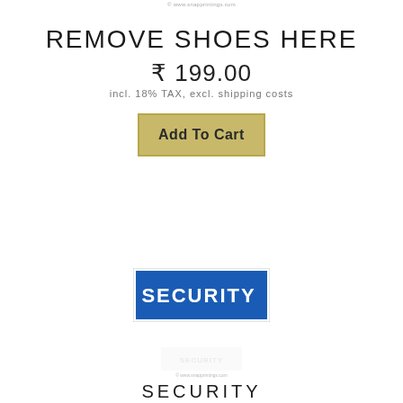© www.snapprintings.com
REMOVE SHOES HERE
₹ 199.00
incl. 18% TAX, excl. shipping costs
Add To Cart
[Figure (other): A blue rectangular security badge/sign with bold white text reading SECURITY, with a thin border around it]
[Figure (other): Faded preview of next product item showing a similar sign]
© www.snapprintings.com
SECURITY